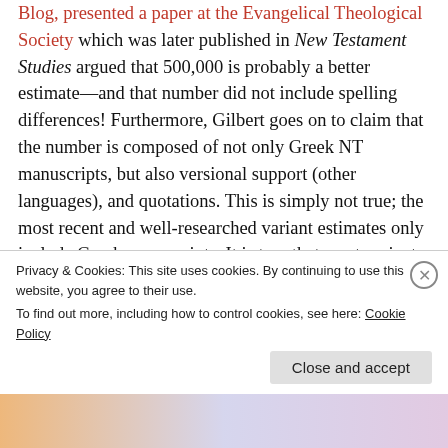Blog, presented a paper at the Evangelical Theological Society which was later published in New Testament Studies argued that 500,000 is probably a better estimate—and that number did not include spelling differences! Furthermore, Gilbert goes on to claim that the number is composed of not only Greek NT manuscripts, but also versional support (other languages), and quotations. This is simply not true; the most recent and well-researched variant estimates only include Greek manuscripts. It is true that most variants are inconsequential, and that the reason we have so many differences is because we have so many
Privacy & Cookies: This site uses cookies. By continuing to use this website, you agree to their use. To find out more, including how to control cookies, see here: Cookie Policy